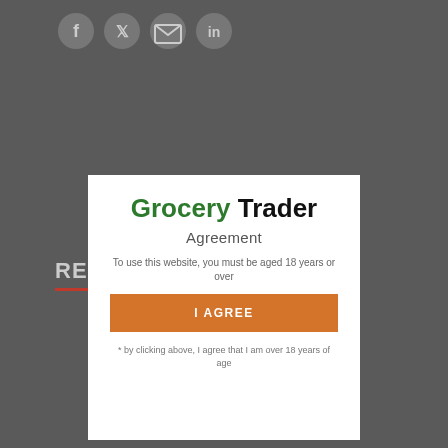[Figure (screenshot): Social media sharing icons: Facebook (f), Twitter (bird), Email (envelope), LinkedIn (in) displayed in circular buttons on a dark grey background]
Grocery Trader
Agreement
To use this website, you must be aged 18 years or over
I AGREE
* by clicking above, I agree that I am over 18 years of age